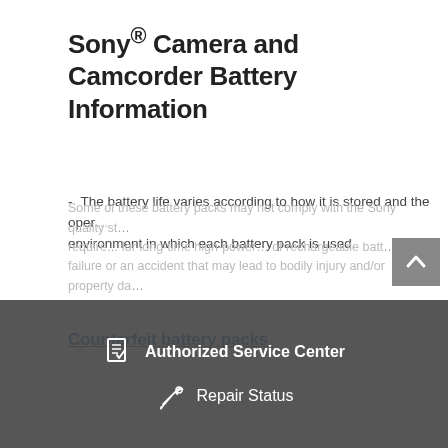Sony® Camera and Camcorder Battery Information
The battery life varies according to how it is stored and the operating environment in which each battery pack is used.
Counterfeit battery packs
Sony has become aware that there are certain battery packs available in the market almost identical to a genuine Sony battery pack but are counterfeit and may cause safety dangers such as overheating/catching on fire or batt...
Some of these battery packs may not comply with the Sony quality standards and require... for long-time high-power... of rechargeable batt... failure or an accident that may lead to bodily injury and/or property da...
[Figure (screenshot): Authorized Service Center and Repair Status overlay banner at bottom of page, dark gray background with white icons and text]